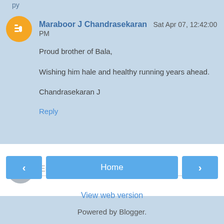Maraboor J Chandrasekaran  Sat Apr 07, 12:42:00 PM
Proud brother of Bala,

Wishing him hale and healthy running years ahead.

Chandrasekaran J
Reply
Enter Comment
Home
View web version
Powered by Blogger.